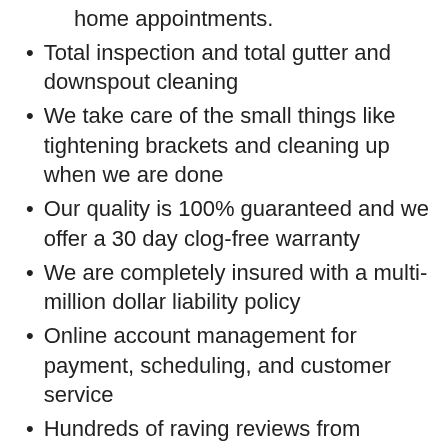home appointments.
Total inspection and total gutter and downspout cleaning
We take care of the small things like tightening brackets and cleaning up when we are done
Our quality is 100% guaranteed and we offer a 30 day clog-free warranty
We are completely insured with a multi-million dollar liability policy
Online account management for payment, scheduling, and customer service
Hundreds of raving reviews from homeowners just like you
Our specialists are all highly endorsed and nearby